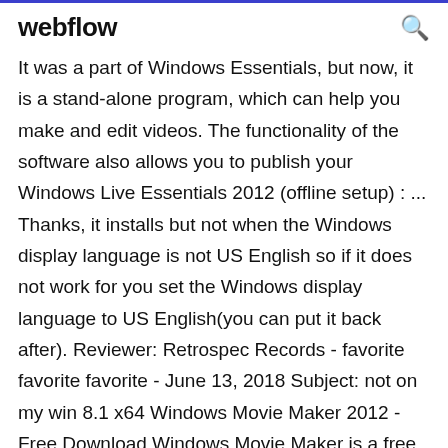webflow
It was a part of Windows Essentials, but now, it is a stand-alone program, which can help you make and edit videos. The functionality of the software also allows you to publish your Windows Live Essentials 2012 (offline setup) : ... Thanks, it installs but not when the Windows display language is not US English so if it does not work for you set the Windows display language to US English(you can put it back after). Reviewer: Retrospec Records - favorite favorite favorite - June 13, 2018 Subject: not on my win 8.1 x64 Windows Movie Maker 2012 - Free Download Windows Movie Maker is a free video editing software package that works with most computers that use a Windows operating